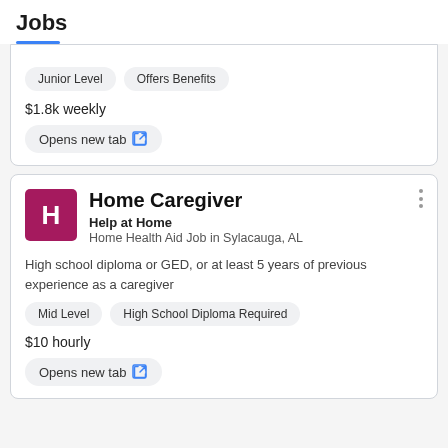Jobs
Junior Level  Offers Benefits
$1.8k weekly
Opens new tab
Home Caregiver
Help at Home
Home Health Aid Job in Sylacauga, AL
High school diploma or GED, or at least 5 years of previous experience as a caregiver
Mid Level  High School Diploma Required
$10 hourly
Opens new tab